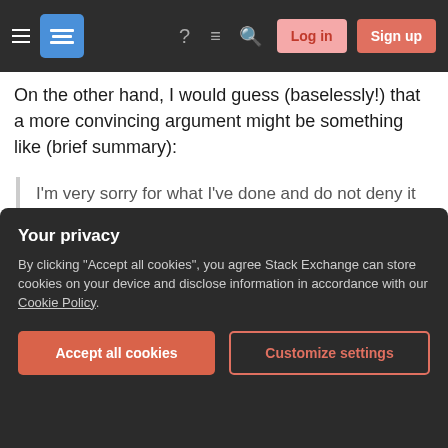Stack Exchange navigation bar with hamburger menu, logo, help, chat, search icons, Log in and Sign up buttons
On the other hand, I would guess (baselessly!) that a more convincing argument might be something like (brief summary):
I'm very sorry for what I've done and do not deny it was disallowed, inappropriate and immoral.
I was tempted to plagiarize because of ABC, which, while not excusing my behavior, has also led 30% of the class to be tempted to plagiarize, suggesting an
personal circumstances DEF into account
Your privacy
By clicking "Accept all cookies", you agree Stack Exchange can store cookies on your device and disclose information in accordance with our Cookie Policy.